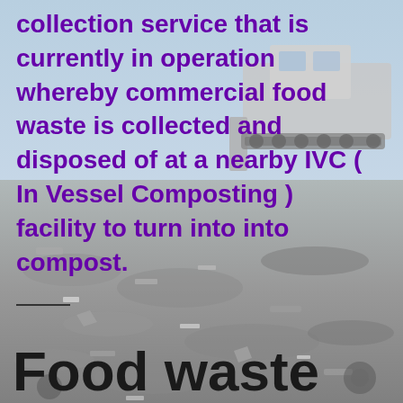[Figure (photo): A bulldozer working on top of a large landfill/waste disposal site filled with mixed refuse and debris]
collection service that is currently in operation whereby commercial food waste is collected and disposed of at a nearby IVC ( In Vessel Composting ) facility to turn into into compost.
Food waste